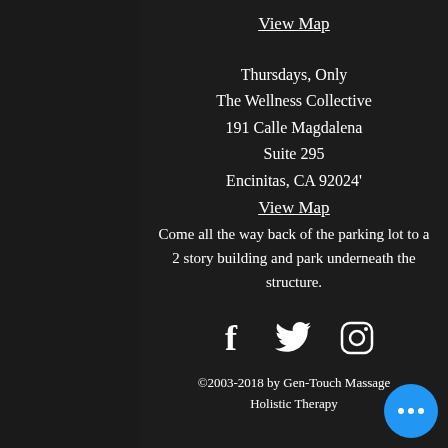View Map
Thursdays, Only
The Wellness Collective
191 Calle Magdalena
Suite 295
Encinitas, CA 92024'
View Map
Come all the way back of the parking lot to a 2 story building and park underneath the structure.
[Figure (illustration): Social media icons: Facebook, Twitter, Instagram]
©2003-2018 by Gen-Touch Massage Holistic Therapy